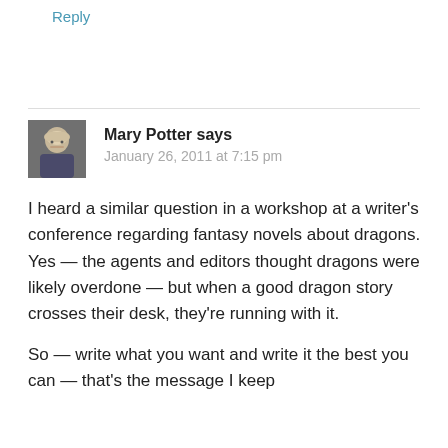Reply
Mary Potter says
January 26, 2011 at 7:15 pm
I heard a similar question in a workshop at a writer's conference regarding fantasy novels about dragons. Yes — the agents and editors thought dragons were likely overdone — but when a good dragon story crosses their desk, they're running with it.
So — write what you want and write it the best you can — that's the message I keep